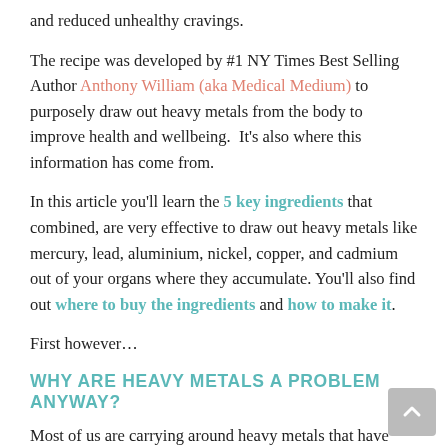and reduced unhealthy cravings.
The recipe was developed by #1 NY Times Best Selling Author Anthony William (aka Medical Medium) to purposely draw out heavy metals from the body to improve health and wellbeing.  It’s also where this information has come from.
In this article you’ll learn the 5 key ingredients that combined, are very effective to draw out heavy metals like mercury, lead, aluminium, nickel, copper, and cadmium out of your organs where they accumulate. You’ll also find out where to buy the ingredients and how to make it.
First however…
WHY ARE HEAVY METALS A PROBLEM ANYWAY?
Most of us are carrying around heavy metals that have been with us years from diet and childhood...